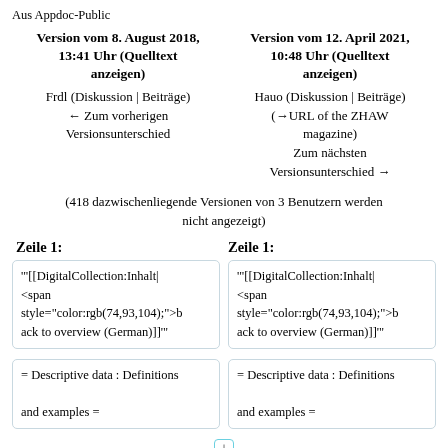Aus Appdoc-Public
Version vom 8. August 2018, 13:41 Uhr (Quelltext anzeigen)
Frdl (Diskussion | Beiträge)
← Zum vorherigen Versionsunterschied
Version vom 12. April 2021, 10:48 Uhr (Quelltext anzeigen)
Hauo (Diskussion | Beiträge)
(→URL of the ZHAW magazine)
Zum nächsten Versionsunterschied →
(418 dazwischenliegende Versionen von 3 Benutzern werden nicht angezeigt)
Zeile 1:
Zeile 1:
'"[[DigitalCollection:Inhalt|
<span
style="color:rgb(74,93,104);">b
ack to overview (German)]]'"
'"[[DigitalCollection:Inhalt|
<span
style="color:rgb(74,93,104);">b
ack to overview (German)]]'"
= Descriptive data : Definitions
and examples =
= Descriptive data : Definitions
and examples =